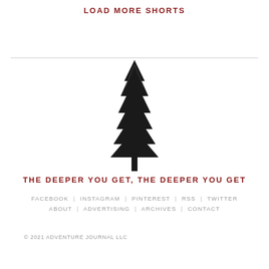LOAD MORE SHORTS
[Figure (illustration): A tall evergreen/redwood tree silhouette in black ink, centered on the page]
THE DEEPER YOU GET, THE DEEPER YOU GET
FACEBOOK | INSTAGRAM | PINTEREST | RSS | TWITTER ABOUT | ADVERTISING | ARCHIVES | CONTACT
© 2021 ADVENTURE JOURNAL LLC